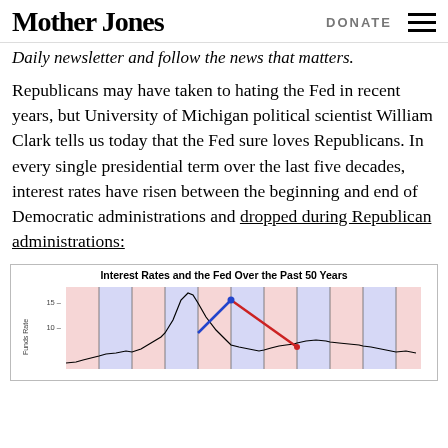Mother Jones   DONATE
Daily newsletter and follow the news that matters.
Republicans may have taken to hating the Fed in recent years, but University of Michigan political scientist William Clark tells us today that the Fed sure loves Republicans. In every single presidential term over the last five decades, interest rates have risen between the beginning and end of Democratic administrations and dropped during Republican administrations:
[Figure (continuous-plot): A line chart showing the Federal Funds Rate over approximately 50 years, with alternating pink (Democratic) and blue (Republican) shaded background regions. A black line shows the rate over time, peaking sharply around 1980. A blue line segment and a red line segment are overlaid on the chart, indicating direction of rates during certain administrations. Y-axis shows rate values including 15 and 10. Vertical lines mark presidential term transitions.]